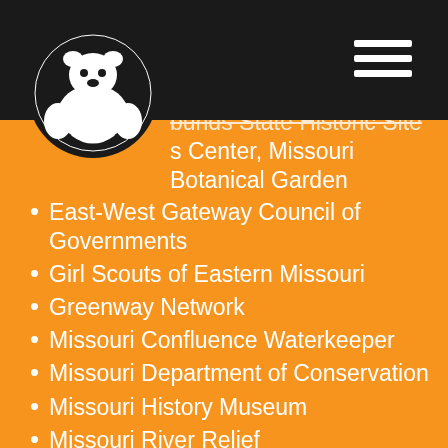Navigation header with logo and hamburger menu
...bunds State Historic Site
...s Center, Missouri Botanical Garden
East-West Gateway Council of Governments
Girl Scouts of Eastern Missouri
Greenway Network
Missouri Confluence Waterkeeper
Missouri Department of Conservation
Missouri History Museum
Missouri River Relief
Missouri Stream Team
National Great Rivers Research & Education Center
Open Space Council